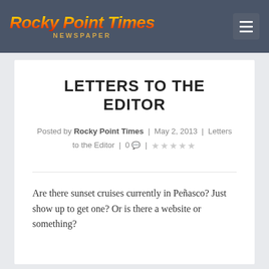Rocky Point Times NEWSPAPER
LETTERS TO THE EDITOR
Posted by Rocky Point Times | May 2, 2013 | Letters to the Editor | 0 💬 | ★★★★★
Are there sunset cruises currently in Peñasco? Just show up to get one? Or is there a website or something?